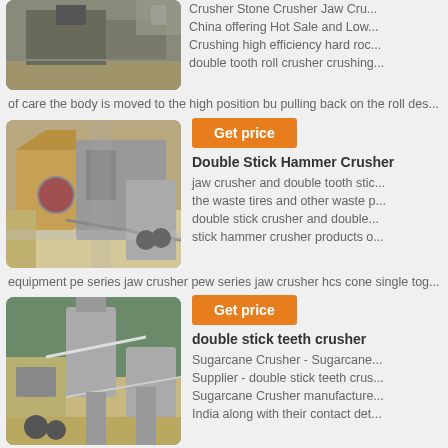[Figure (photo): Industrial stone crusher machinery at a quarry site, partial view at top]
Crusher Stone Crusher Jaw Cru... China offering Hot Sale and Low... Crushing high efficiency hard roc... double tooth roll crusher crushing...
of care the body is moved to the high position bu pulling back on the roll des...
[Figure (photo): Large jaw crusher and crushing equipment at a quarry, with conveyor belts and machinery]
Get price
Double Stick Hammer Crusher
jaw crusher and double tooth stic... the waste tires and other waste p... double stick crusher and double... stick hammer crusher products o...
equipment pe series jaw crusher pew series jaw crusher hcs cone single tog...
[Figure (photo): Industrial crushing and screening plant with silos and conveyors in a hilly area]
Get price
double stick teeth crusher
Sugarcane Crusher - Sugarcane Supplier - double stick teeth crus... Sugarcane Crusher manufacture... India along with their contact det...
to clean the teeth of the crusher Agro PD Double Gear Sugarcane Crusher is...
[Figure (photo): Partial view of industrial crusher machinery, bottom of page]
Get price